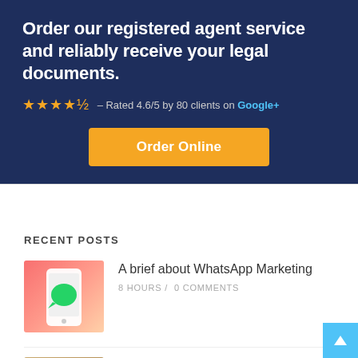[Figure (infographic): Dark navy blue banner promoting a registered agent service. Contains headline text, star rating, and orange Order Online button.]
RECENT POSTS
[Figure (photo): Pink/coral gradient thumbnail image showing a smartphone with WhatsApp icon (green chat bubble) on a pink background.]
A brief about WhatsApp Marketing
8 HOURS /  0 COMMENTS
[Figure (photo): Brownish/tan thumbnail image for a second blog post, partially visible.]